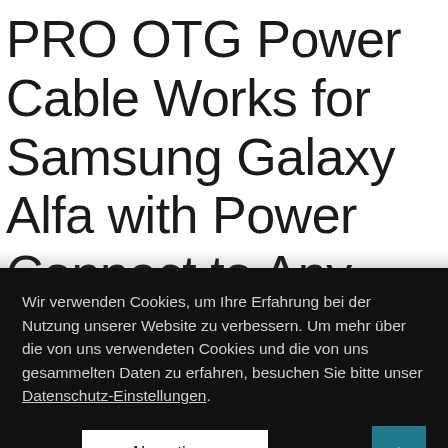PRO OTG Power Cable Works for Samsung Galaxy Alfa with Power Connect to Any Compatible USB Accessory with MicroUSB
Wir verwenden Cookies, um Ihre Erfahrung bei der Nutzung unserer Website zu verbessern. Um mehr über die von uns verwendeten Cookies und die von uns gesammelten Daten zu erfahren, besuchen Sie bitte unser Datenschutz-Einstellungen.
Akzeptieren